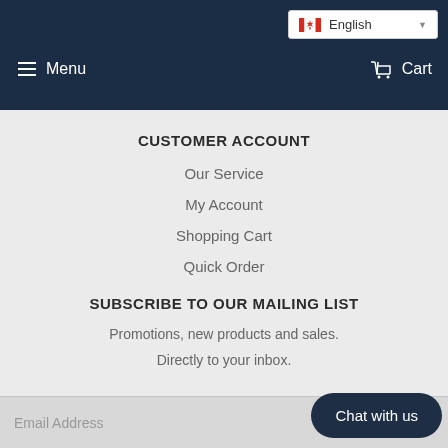Menu   Cart   English
CUSTOMER ACCOUNT
Our Service
My Account
Shopping Cart
Quick Order
SUBSCRIBE TO OUR MAILING LIST
Promotions, new products and sales.
Directly to your inbox.
Email Address
Chat with us